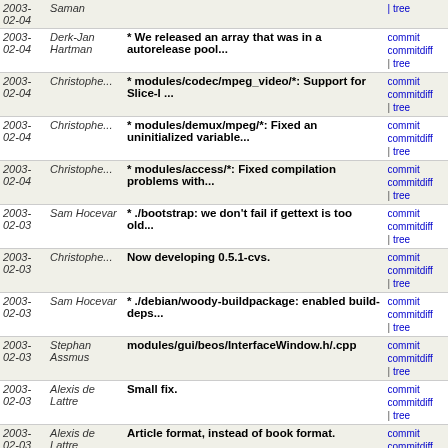| Date | Author | Message | Links |
| --- | --- | --- | --- |
| 2003-02-04 | Saman |  | commit | commitdiff | tree |
| 2003-02-04 | Derk-Jan Hartman | * We released an array that was in a autorelease pool... | commit | commitdiff | tree |
| 2003-02-04 | Christophe... | * modules/codec/mpeg_video/*: Support for Slice-I ... | commit | commitdiff | tree |
| 2003-02-04 | Christophe... | * modules/demux/mpeg/*: Fixed an uninitialized variable... | commit | commitdiff | tree |
| 2003-02-04 | Christophe... | * modules/access/*: Fixed compilation problems with... | commit | commitdiff | tree |
| 2003-02-03 | Sam Hocevar | * ./bootstrap: we don't fail if gettext is too old... | commit | commitdiff | tree |
| 2003-02-03 | Christophe... | Now developing 0.5.1-cvs. | commit | commitdiff | tree |
| 2003-02-03 | Sam Hocevar | * ./debian/woody-buildpackage: enabled build-deps... | commit | commitdiff | tree |
| 2003-02-03 | Stephan Assmus | modules/gui/beos/InterfaceWindow.h/.cpp | commit | commitdiff | tree |
| 2003-02-03 | Alexis de Lattre | Small fix. | commit | commitdiff | tree |
| 2003-02-03 | Alexis de Lattre | Article format, instead of book format. | commit | commitdiff | tree |
| 2003-02-03 | Sam Hocevar | * ./debian/rules: more Debian Woody fixes. Grrrr! | commit | commitdiff | tree |
| 2003-02-03 | Sam Hocevar | * ./modules/visualization/xosd/xosd.c: Woody compilat... | commit | commitdiff | tree |
| 2003-02-03 | Sam Hocevar | * ./share/Makefile.am: we weren't distributing the | commit | commitdiff | tree |